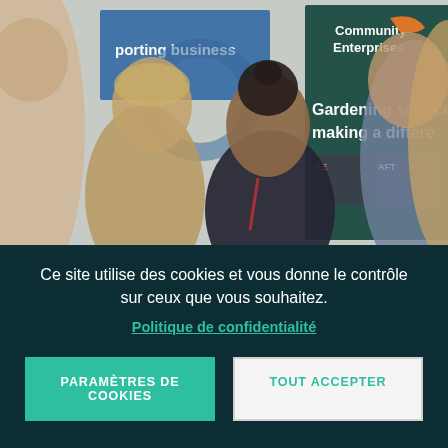[Figure (photo): Group of people at a community business event, with banner signs visible including 'Community Enterprises' and 'Gardening service making a difference'. Several people are engaged in conversation in the foreground.]
Ce site utilise des cookies et vous donne le contrôle sur ceux que vous souhaitez.
Politique de confidentialité
PARAMÈTRES DE COOKIES
TOUT ACCEPTER